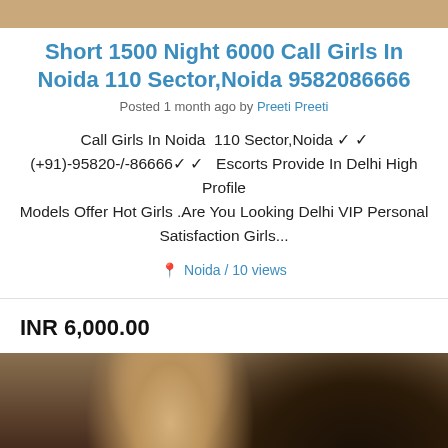[Figure (photo): Top portion of a photo, cropped — skin tone background visible at top]
Short 1500 Night 6000 Call Girls In Noida 110 Sector,Noida 9582086666
Posted 1 month ago by Preeti Preeti
Call Girls In Noida  110 Sector,Noida ✓ ✓  (+91)-95820-/-86666✓ ✓   Escorts Provide In Delhi High Profile Models Offer Hot Girls .Are You Looking Delhi VIP Personal Satisfaction Girls...
📍 Noida / 10 views
INR 6,000.00
[Figure (photo): Portrait photo of a young woman with highlighted hair looking down at a phone]